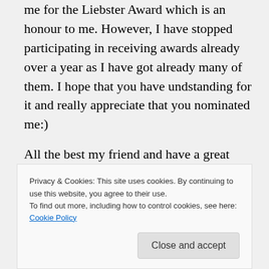me for the Liebster Award which is an honour to me. However, I have stopped participating in receiving awards already over a year as I have got already many of them. I hope that you have undstanding for it and really appreciate that you nominated me:)
All the best my friend and have a great weekend 🙂
Didi
Privacy & Cookies: This site uses cookies. By continuing to use this website, you agree to their use.
To find out more, including how to control cookies, see here: Cookie Policy
Close and accept